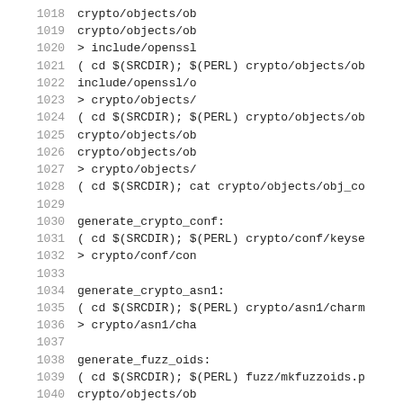Code listing lines 1018-1040, showing Makefile/build script rules for generate_crypto_conf, generate_crypto_asn1, and generate_fuzz_oids targets with cd $(SRCDIR); $(PERL) and crypto/objects/, crypto/conf/, crypto/asn1/, fuzz/ paths